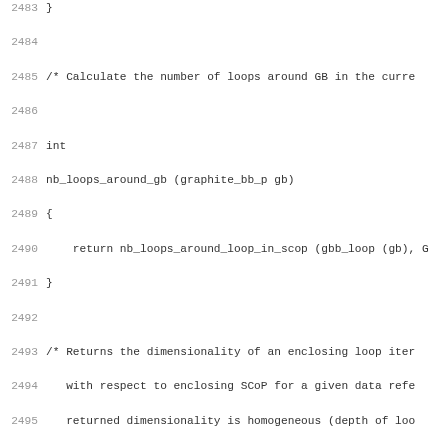Source code listing lines 2483-2514 showing C functions: nb_loops_around_gb, ref_nb_loops, and build_scop_dynamic_schedules